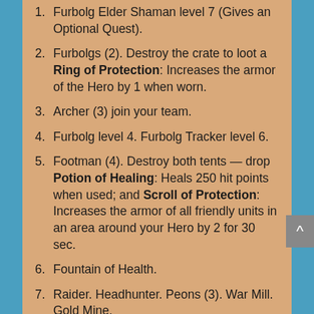1. Furbolg Elder Shaman level 7 (Gives an Optional Quest).
2. Furbolgs (2). Destroy the crate to loot a Ring of Protection: Increases the armor of the Hero by 1 when worn.
3. Archer (3) join your team.
4. Furbolg level 4. Furbolg Tracker level 6.
5. Footman (4). Destroy both tents — drop Potion of Healing: Heals 250 hit points when used; and Scroll of Protection: Increases the armor of all friendly units in an area around your Hero by 2 for 30 sec.
6. Fountain of Health.
7. Raider. Headhunter. Peons (3). War Mill. Gold Mine.